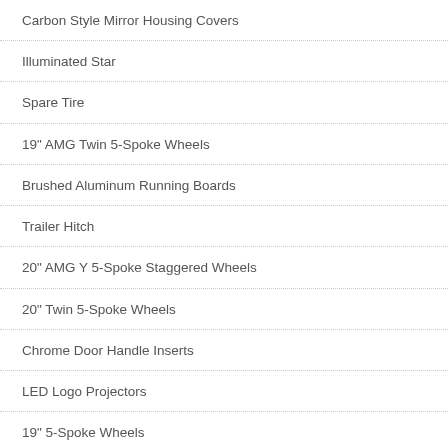Carbon Style Mirror Housing Covers
Illuminated Star
Spare Tire
19" AMG Twin 5-Spoke Wheels
Brushed Aluminum Running Boards
Trailer Hitch
20" AMG Y 5-Spoke Staggered Wheels
20" Twin 5-Spoke Wheels
Chrome Door Handle Inserts
LED Logo Projectors
19" 5-Spoke Wheels